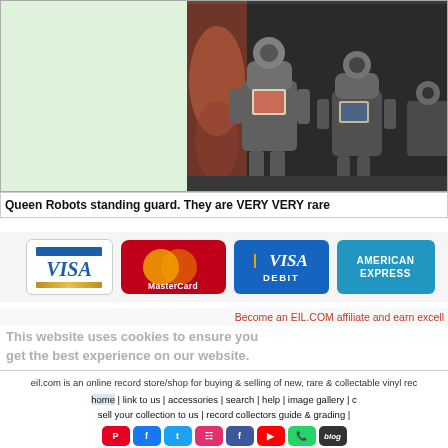[Figure (photo): Photo of metallic robot figurines (Queen Robots) displayed with comic book art background]
Queen Robots standing guard. They are VERY VERY rare
[Figure (logo): VISA credit card logo]
[Figure (logo): MasterCard logo]
[Figure (logo): VISA DEBIT card logo]
[Figure (logo): AMERICAN EXPRESS card logo]
Become an EIL.COM affiliate and earn excell
€£$ Sell your Bertram Turetzky records to us. We ca
This website uses cookies to ensure you get the best experience on our website. Learn more
eil.com is an online record store/shop for buying & selling of new, rare & collectable vinyl rec
home | link to us | accessories | search | help | image gallery | c
sell your collection to us | record collectors guide & grading |
vinyl-wanted.com | 991.com | contact eil.com | sub